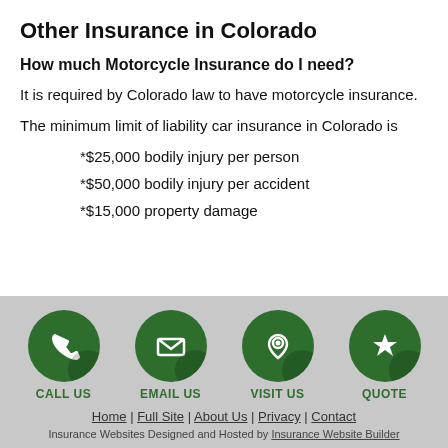Other Insurance in Colorado
How much Motorcycle Insurance do I need?
It is required by Colorado law to have motorcycle insurance.
The minimum limit of liability car insurance in Colorado is
*$25,000 bodily injury per person
*$50,000 bodily injury per accident
*$15,000 property damage
[Figure (infographic): Footer with four green circle icons: CALL US (phone), EMAIL US (envelope), VISIT US (map pin), QUOTE (star)]
Home | Full Site | About Us | Privacy | Contact
Insurance Websites Designed and Hosted by Insurance Website Builder